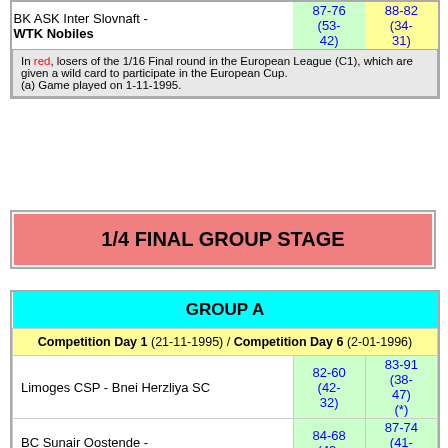| Team | Day 1 | Day 6 |
| --- | --- | --- |
| BK ASK Inter Slovnaft - WTK Nobiles | 87-76 (53-42) | 88-82 (34-31) |
In red, losers of the 1/16 Final round in the European League (C1), which are given a wild card to participate in the European Cup.
(a) Game played on 1-11-1995.
1/4 FINAL GROUP STAGE
| GROUP A |
| --- |
| Competition Day 1 (21-11-1995) / Competition Day 6 (2-01-1996) |
| Limoges CSP - Bnei Herzliya SC | 82-60 (42-32) | 83-91 (38-47) (*) |
| BC Sunair Oostende - Taugrés Baskonia | 84-68 (42-42) | 87-74 (41-31) (*) |
| KK Partizan - BK Žalgiris | 90-99 (40-47) | 93-84 (44-48) |
| Competition Day 2 (28-11-1995) / Competition Day 7 (9-01-1996) |